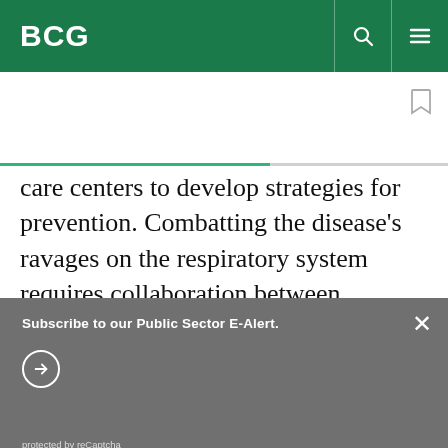BCG
care centers to develop strategies for prevention. Combatting the disease’s ravages on the respiratory system requires collaboration between infectious
Subscribe to our Public Sector E-Alert.
protected by reCaptcha
By using this site, you agree with our use of cookies.
I consent to cookies
Want to know more?
Read our Cookie Policy